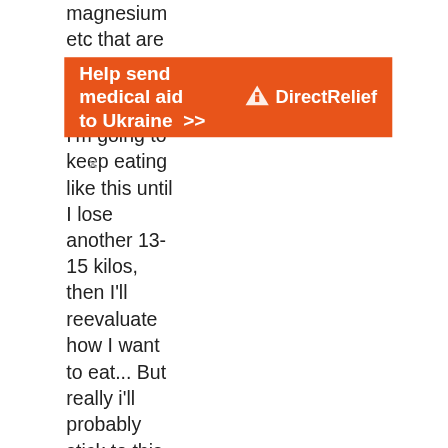magnesium etc that are important for health.
I'm going to keep eating like this until I lose another 13-15 kilos, then I'll reevaluate how I want to eat... But really i'll probably stick to this diet most of the time, it's easy once you get into it and I love how I feel on it don't expect to lose weight as quickly as guys do by the way if you're a woman, my missus is doing this diet too and she's losing weight about half as
[Figure (other): Orange advertisement banner reading 'Help send medical aid to Ukraine >>' with Direct Relief logo on the right]
×